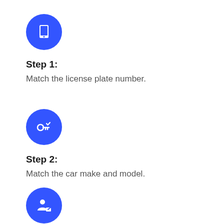[Figure (illustration): Blue circle icon with a white tablet/phone device symbol]
Step 1:
Match the license plate number.
[Figure (illustration): Blue circle icon with a white key and checkmark/route symbol]
Step 2:
Match the car make and model.
[Figure (illustration): Blue circle icon with a white person and redirect/arrow symbol]